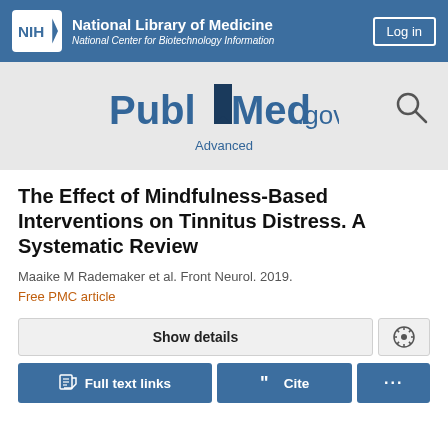NIH National Library of Medicine National Center for Biotechnology Information
[Figure (logo): PubMed.gov logo with search bar area and Advanced link]
The Effect of Mindfulness-Based Interventions on Tinnitus Distress. A Systematic Review
Maaike M Rademaker et al. Front Neurol. 2019.
Free PMC article
Show details
Full text links   Cite   ...